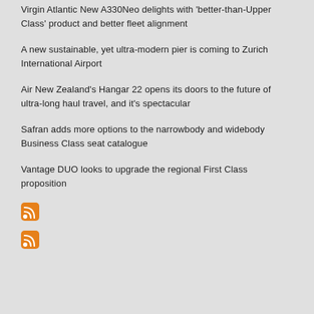Virgin Atlantic New A330Neo delights with 'better-than-Upper Class' product and better fleet alignment
A new sustainable, yet ultra-modern pier is coming to Zurich International Airport
Air New Zealand's Hangar 22 opens its doors to the future of ultra-long haul travel, and it's spectacular
Safran adds more options to the narrowbody and widebody Business Class seat catalogue
Vantage DUO looks to upgrade the regional First Class proposition
[Figure (illustration): RSS feed icon (orange rounded square with white wifi-style signal lines)]
[Figure (illustration): RSS feed icon (orange rounded square with white wifi-style signal lines)]